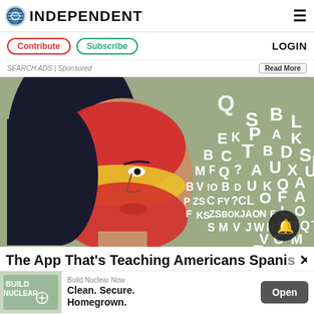INDEPENDENT
Contribute | Subscribe | LOGIN
SEARCH ADS | Sponsored   Read More
[Figure (photo): Woman with Spanish flag face paint with scattered alphabet letters around her face on a teal/grey background]
The App That's Teaching Americans Spani...
Build Nuclear Now
Clean. Secure. Homegrown.
Open